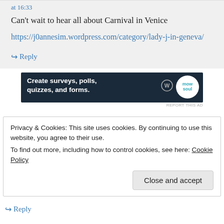at 16:33
Can't wait to hear all about Carnival in Venice
https://j0annesim.wordpress.com/category/lady-j-in-geneva/
↳ Reply
[Figure (screenshot): Dark blue advertisement banner reading 'Create surveys, polls, quizzes, and forms.' with WordPress logo and mow soul logo]
REPORT THIS AD
Privacy & Cookies: This site uses cookies. By continuing to use this website, you agree to their use.
To find out more, including how to control cookies, see here: Cookie Policy
Close and accept
↳ Reply